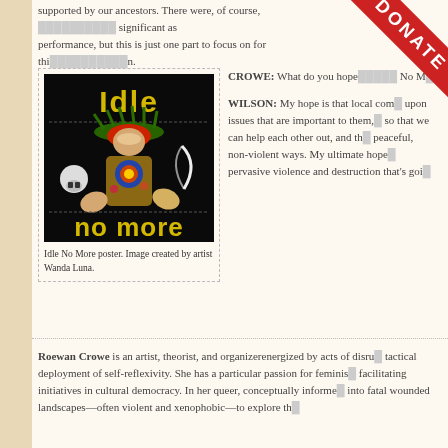supported by our ancestors. There were, of course, significant aspects of performance, but this is just one part to focus on for thi...
[Figure (illustration): Idle No More poster showing a Native American figure in ceremonial dress with 'Idle' written at top and 'no more' at bottom in yellow text on black background. Image created by artist Wanda Luna.]
Idle No More poster. Image created by artist Wanda Luna.
CROWE: What do you hope... No M...
WILSON: My hope is that local com... upon issues that are important to them, so that we can help each other out, and th... peaceful, non-violent ways. My ultimate hope... pervasive violence and destruction that's goi...
Roewan Crowe is an artist, theorist, and organizerenergized by acts of disru... tactical deployment of self-reflexivity. She has a particular passion for feminis... facilitating initiatives in cultural democracy. In her queer, conceptually informe... into fatal wounded landscapes—often violent and xenophobic—to explore th...